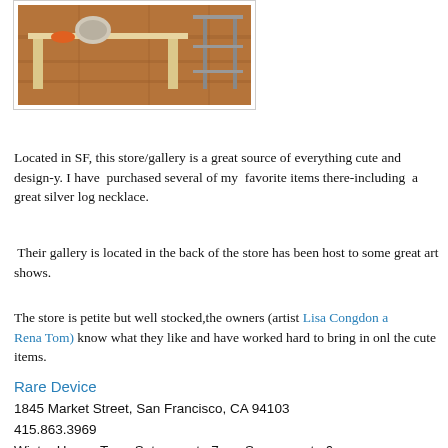[Figure (photo): Interior photo of a store showing wooden shelving/table with items on it, wooden floor visible in background]
Located in SF, this store/gallery is a great source of everything cute and design-y. I have purchased several of my favorite items there-including a great silver log necklace.
Their gallery is located in the back of the store has been host to some great art shows.
The store is petite but well stocked,the owners (artist Lisa Congdon and Rena Tom) know what they like and have worked hard to bring in only the cute items.
Rare Device
1845 Market Street, San Francisco, CA 94103
415.863.3969
Winter Hours: Tue - Sat, noon to 7pm; Sun, noon to 6pm